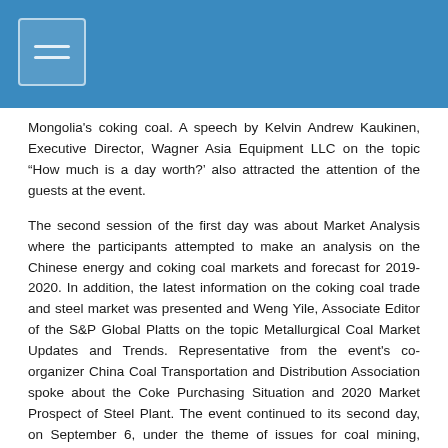Mongolia's coking coal. A speech by Kelvin Andrew Kaukinen, Executive Director, Wagner Asia Equipment LLC on the topic “How much is a day worth?' also attracted the attention of the guests at the event.
The second session of the first day was about Market Analysis where the participants attempted to make an analysis on the Chinese energy and coking coal markets and forecast for 2019-2020. In addition, the latest information on the coking coal trade and steel market was presented and Weng Yile, Associate Editor of the S&P Global Platts on the topic Metallurgical Coal Market Updates and Trends. Representative from the event's co-organizer China Coal Transportation and Distribution Association spoke about the Coke Purchasing Situation and 2020 Market Prospect of Steel Plant. The event continued to its second day, on September 6, under the theme of issues for coal mining, processing, transportation and logistics.